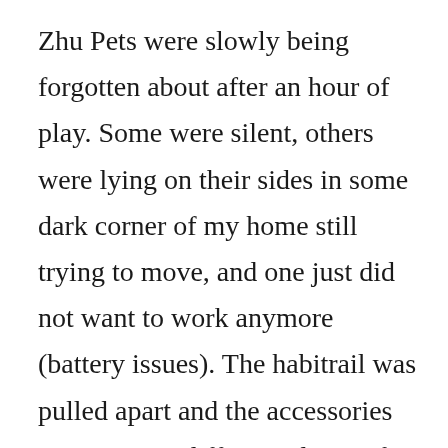Zhu Pets were slowly being forgotten about after an hour of play. Some were silent, others were lying on their sides in some dark corner of my home still trying to move, and one just did not want to work anymore (battery issues). The habitrail was pulled apart and the accessories were now in different places of my once clean home.